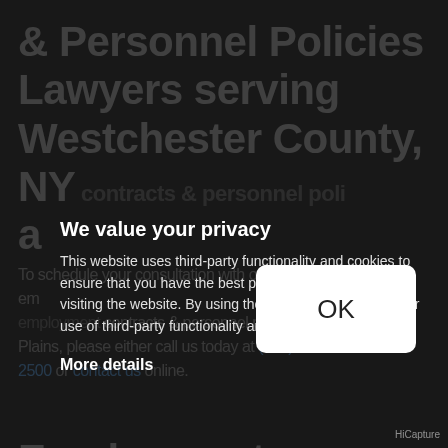& Personnel Policies Lawyers serving Westchester County, NY contracts & personnel policies a
To schedule your consultation with one of our skilled employment contracts & personnel policies lawyers in White Plains, please either call us today at (914) 684-2500 or contact us online.
Employment Contracts & Personnel Policies Experience You Can Depend On In
We value your privacy
This website uses third-party functionality and cookies to ensure that you have the best possible experience when visiting the website. By using the website you agree to our use of third-party functionality and cookies.
More details
[Figure (screenshot): OK button in white rounded rectangle]